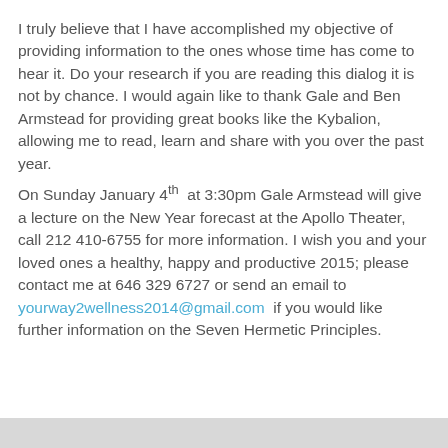I truly believe that I have accomplished my objective of providing information to the ones whose time has come to hear it. Do your research if you are reading this dialog it is not by chance. I would again like to thank Gale and Ben Armstead for providing great books like the Kybalion, allowing me to read, learn and share with you over the past year.
On Sunday January 4th at 3:30pm Gale Armstead will give a lecture on the New Year forecast at the Apollo Theater, call 212 410-6755 for more information. I wish you and your loved ones a healthy, happy and productive 2015; please contact me at 646 329 6727 or send an email to yourway2wellness2014@gmail.com if you would like further information on the Seven Hermetic Principles.